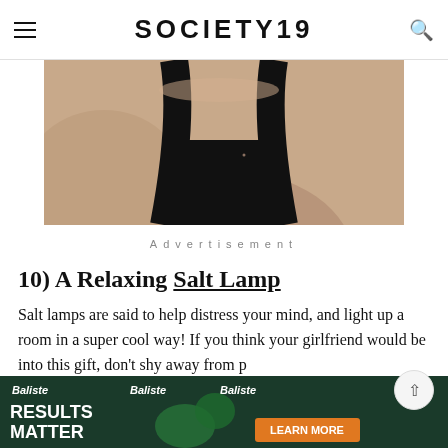SOCIETY19
[Figure (photo): Close-up photo of a person wearing a black sleeveless top, showing neck and shoulder area]
Advertisement
10) A Relaxing Salt Lamp
Salt lamps are said to help distress your mind, and light up a room in a super cool way! If you think your girlfriend would be into this gift, don't shy away from p
[Figure (photo): Baliste advertisement banner with text RESULTS MATTER and LEARN MORE button]